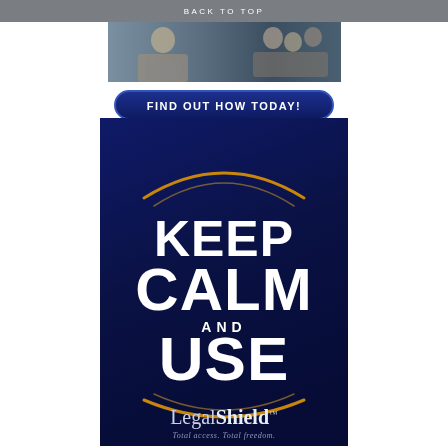BACK TO TOP
[Figure (photo): Photo strip showing people working at computers and in discussion]
[Figure (illustration): Dark blue rounded button with text FIND OUT HOW TODAY!]
[Figure (illustration): Dark navy blue poster with Keep Calm and Use LegalShield branding, decorative arcs top and bottom, LegalShield logo with tagline Total access. Total freedom.]